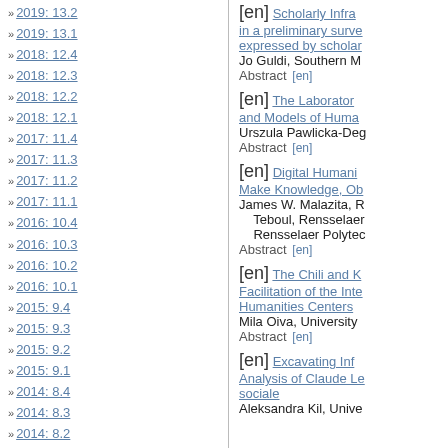2019: 13.2
2019: 13.1
2018: 12.4
2018: 12.3
2018: 12.2
2018: 12.1
2017: 11.4
2017: 11.3
2017: 11.2
2017: 11.1
2016: 10.4
2016: 10.3
2016: 10.2
2016: 10.1
2015: 9.4
2015: 9.3
2015: 9.2
2015: 9.1
2014: 8.4
2014: 8.3
2014: 8.2
2014: 8.1
2013: 7.3
2013: 7.2
[en] Scholarly Infra... in a preliminary surve... expressed by scholar... Jo Guldi, Southern M... Abstract [en]
[en] The Laboratory... and Models of Huma... Urszula Pawlicka-Deg... Abstract [en]
[en] Digital Humani... Make Knowledge, Ob... James W. Malazita, R... Teboul, Rensselaer... Rensselaer Polytec... Abstract [en]
[en] The Chili and K... Facilitation of the Inte... Humanities Centers Mila Oiva, University Abstract [en]
[en] Excavating Inf... Analysis of Claude Le... sociale Aleksandra Kil, Unive...